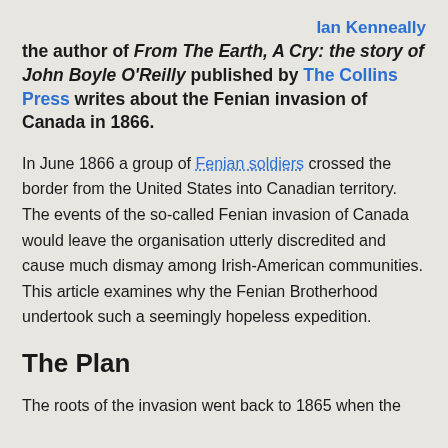Ian Kenneally
the author of From The Earth, A Cry: the story of John Boyle O'Reilly published by The Collins Press writes about the Fenian invasion of Canada in 1866.
In June 1866 a group of Fenian soldiers crossed the border from the United States into Canadian territory. The events of the so-called Fenian invasion of Canada would leave the organisation utterly discredited and cause much dismay among Irish-American communities. This article examines why the Fenian Brotherhood undertook such a seemingly hopeless expedition.
The Plan
The roots of the invasion went back to 1865 when the